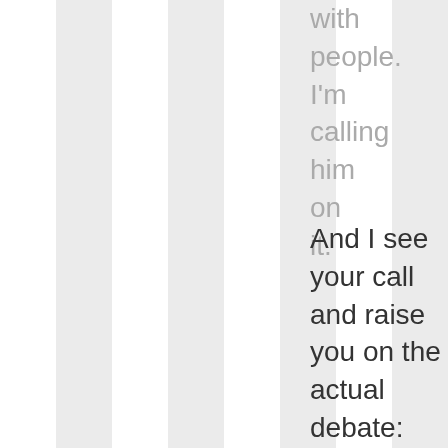with people. I'm calling him on it.
And I see your call and raise you on the actual debate: you want to play 'give and get' you